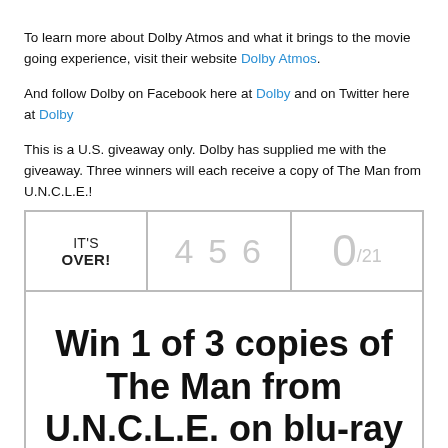To learn more about Dolby Atmos and what it brings to the movie going experience, visit their website Dolby Atmos.
And follow Dolby on Facebook here at Dolby and on Twitter here at Dolby
This is a U.S. giveaway only. Dolby has supplied me with the giveaway. Three winners will each receive a copy of The Man from U.N.C.L.E.!
[Figure (other): Giveaway widget showing IT'S OVER!, entry count 456, and 0/21, with large text: Win 1 of 3 copies of The Man from U.N.C.L.E. on blu-ray]